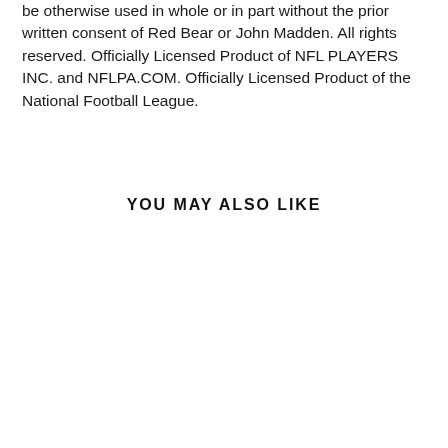be otherwise used in whole or in part without the prior written consent of Red Bear or John Madden. All rights reserved. Officially Licensed Product of NFL PLAYERS INC. and NFLPA.COM. Officially Licensed Product of the National Football League.
YOU MAY ALSO LIKE